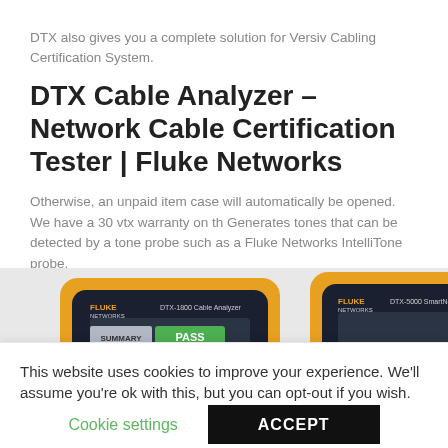DTX also gives you a complete solution for Versiv Cabling Certification System.
DTX Cable Analyzer – Network Cable Certification Tester | Fluke Networks
Otherwise, an unpaid item case will automatically be opened. We have a 30 vtx warranty on th Generates tones that can be detected by a tone probe such as a Fluke Networks IntelliTone probe.
[Figure (photo): Two Fluke Networks DTX Cable Analyzer devices side by side, showing the yellow-bordered handheld testers with dark screens displaying PASS and test results.]
This website uses cookies to improve your experience. We'll assume you're ok with this, but you can opt-out if you wish.
Cookie settings
ACCEPT